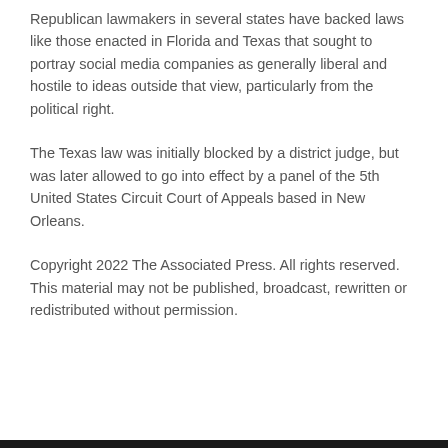Republican lawmakers in several states have backed laws like those enacted in Florida and Texas that sought to portray social media companies as generally liberal and hostile to ideas outside that view, particularly from the political right.
The Texas law was initially blocked by a district judge, but was later allowed to go into effect by a panel of the 5th United States Circuit Court of Appeals based in New Orleans.
Copyright 2022 The Associated Press. All rights reserved. This material may not be published, broadcast, rewritten or redistributed without permission.